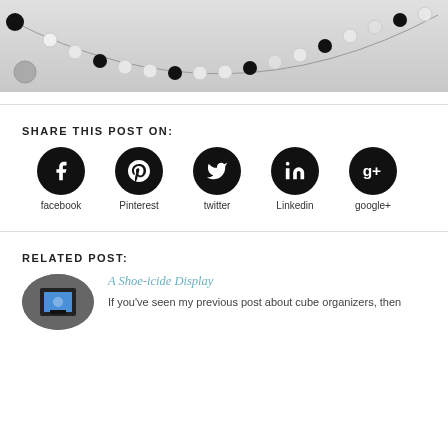[Figure (photo): Photo of a beaded necklace with black, white, and gray beads arranged in a curved line against a light background]
SHARE THIS POST ON:
[Figure (infographic): Social sharing icons: facebook, Pinterest, twitter, Linkedin, google+]
RELATED POST:
A Shoe-icide Display
If you've seen my previous post about cube organizers, then